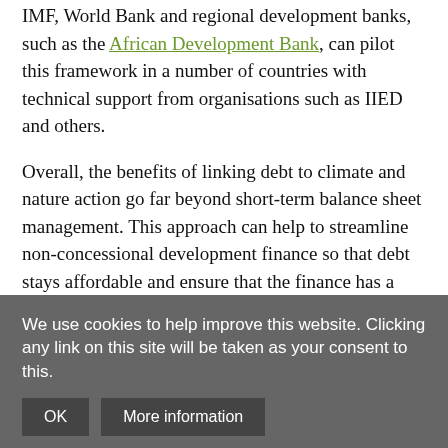IMF, World Bank and regional development banks, such as the African Development Bank, can pilot this framework in a number of countries with technical support from organisations such as IIED and others.
Overall, the benefits of linking debt to climate and nature action go far beyond short-term balance sheet management. This approach can help to streamline non-concessional development finance so that debt stays affordable and ensure that the finance has a meaningful, measurable impact on climate and nature for borrowing countries.
Our 'how-to' guide was prepared during the COVID-19 pandemic, but the seven-step framework should endure well
We use cookies to help improve this website. Clicking any link on this site will be taken as your consent to this.